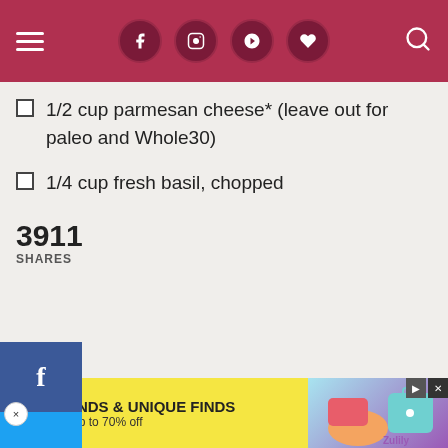Navigation header with hamburger menu, social icons (Facebook, Instagram, Pinterest, heart), and search icon
1/2 cup parmesan cheese* (leave out for paleo and Whole30)
1/4 cup fresh basil, chopped
3911 SHARES
[Figure (screenshot): Social share sidebar with Facebook (blue) and Twitter buttons, with a close (x) button]
[Figure (screenshot): Video player thumbnail showing a play button logo (cyan colored play icon on gray background with black bars on sides)]
[Figure (screenshot): Advertisement banner: TOP BRANDS & UNIQUE FINDS - Daily deals up to 70% off - Zulily ad with product images]